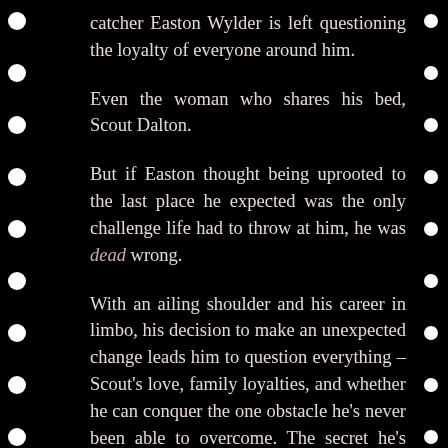catcher Easton Wylder is left questioning the loyalty of everyone around him.
Even the woman who shares his bed, Scout Dalton.
But if Easton thought being uprooted to the last place he expected was the only challenge life had to throw at him, he was dead wrong.
With an ailing shoulder and his career in limbo, his decision to make an unexpected change leads him to question everything – Scout's love, family loyalties, and whether he can conquer the one obstacle he's never been able to overcome. The secret he's never